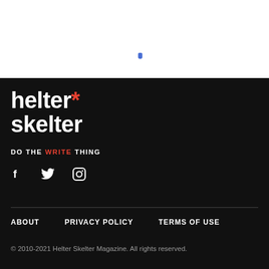[Figure (logo): Small blue teardrop/pen icon on white background]
[Figure (logo): Helter Skelter magazine logo: white bold text reading 'helter skelter' with red asterisk, tagline 'DO THE WRITE THING' below, on black background]
f  Twitter  Instagram social icons
ABOUT   PRIVACY POLICY   TERMS OF USE
© 2010-2021 Helter Skelter Magazine. All rights reserved.